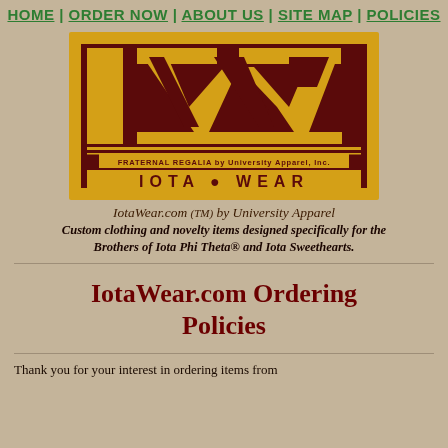HOME | ORDER NOW | ABOUT US | SITE MAP | POLICIES
[Figure (logo): IotaWear logo: dark maroon background with large golden block-letter 'IW' monogram. Text reads 'FRATERNAL REGALIA by University Apparel, Inc.' and 'IOTA WEAR' in gold lettering at bottom.]
IotaWear.com (TM) by University Apparel
Custom clothing and novelty items designed specifically for the Brothers of Iota Phi Theta® and Iota Sweethearts.
IotaWear.com Ordering Policies
Thank you for your interest in ordering items from